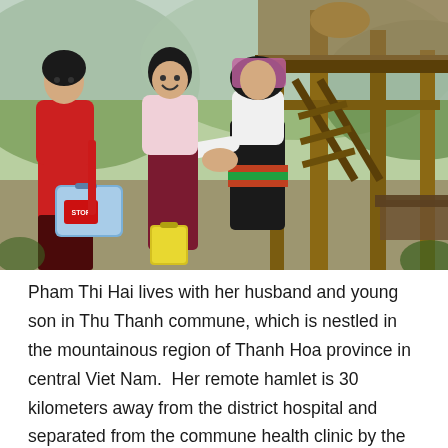[Figure (photo): Health workers visiting a home in a mountainous village in Vietnam. Two women on the left, one wearing a red top and carrying a blue vaccine cooler box with a STOP label, and another in a floral blouse smiling, greet a woman in traditional ethnic minority dress (black skirt, colorful sash, patterned headscarf) at the foot of a wooden stilt house with a log ladder. Background shows green hills and wooden structure.]
Pham Thi Hai lives with her husband and young son in Thu Thanh commune, which is nestled in the mountainous region of Thanh Hoa province in central Viet Nam.  Her remote hamlet is 30 kilometers away from the district hospital and separated from the commune health clinic by the great Ma